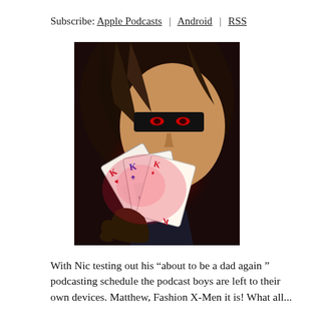Subscribe: Apple Podcasts | Android | RSS
[Figure (illustration): Comic book illustration of Gambit (X-Men character) holding glowing playing cards, with dramatic red energy emanating from them. The character wears a black mask across his eyes and has long dark hair. The cards include a King of Hearts/Spades.]
With Nic testing out his “about to be a dad again ” podcasting schedule the podcast boys are left to their own devices. Matthew, Fashion X-Men it is! What all...